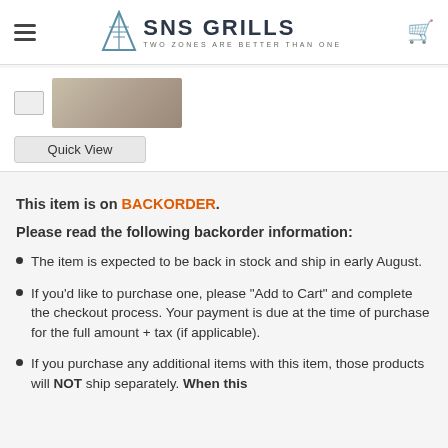SnS Grills — TWO ZONES ARE BETTER THAN ONE
[Figure (photo): Product thumbnail and main product image with Quick View button]
This item is on BACKORDER.
Please read the following backorder information:
The item is expected to be back in stock and ship in early August.
If you'd like to purchase one, please "Add to Cart" and complete the checkout process. Your payment is due at the time of purchase for the full amount + tax (if applicable).
If you purchase any additional items with this item, those products will NOT ship separately. When this